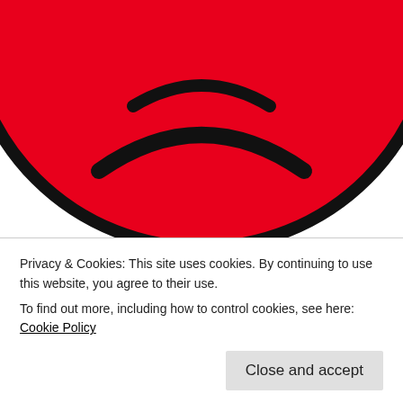[Figure (illustration): Red sad face emoji / frowning face circle, partially cropped at top, showing the bottom half with a frown curve and a smaller curved line above it, all on white background.]
Ten Reasons I’m Having a “Terrible, Horrible, No Good, Very Bad Day”
Rate This
Thanks to Alexander and Judith Viorst’s classic
Privacy & Cookies: This site uses cookies. By continuing to use this website, you agree to their use.
To find out more, including how to control cookies, see here: Cookie Policy